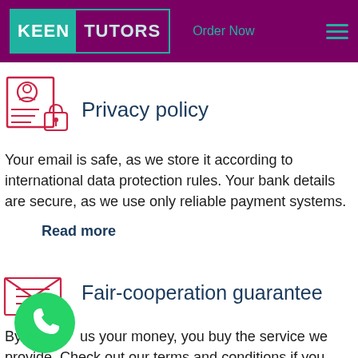KEEN TUTORS | Order Now
[Figure (illustration): Privacy policy icon: person with document and padlock]
Privacy policy
Your email is safe, as we store it according to international data protection rules. Your bank details are secure, as we use only reliable payment systems.
Read more
[Figure (illustration): Fair-cooperation guarantee icon: envelope with document]
Fair-cooperation guarantee
By sending us your money, you buy the service we provide. Check out our terms and conditions if you prefer business talks to be laid
[Figure (illustration): WhatsApp floating button]